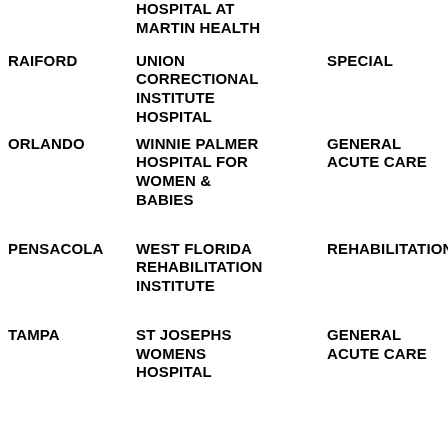| CITY | HOSPITAL NAME | TYPE | NUMBER |
| --- | --- | --- | --- |
|  | HOSPITAL AT MARTIN HEALTH | DR |  |
| RAIFORD | UNION CORRECTIONAL INSTITUTE HOSPITAL | SPECIAL | 781 |
| ORLANDO | WINNIE PALMER HOSPITAL FOR WOMEN & BABIES | GENERAL ACUTE CARE | 83 W |
| PENSACOLA | WEST FLORIDA REHABILITATION INSTITUTE | REHABILITATION | 839 |
| TAMPA | ST JOSEPHS WOMENS HOSPITAL | GENERAL ACUTE CARE | 303 JR |